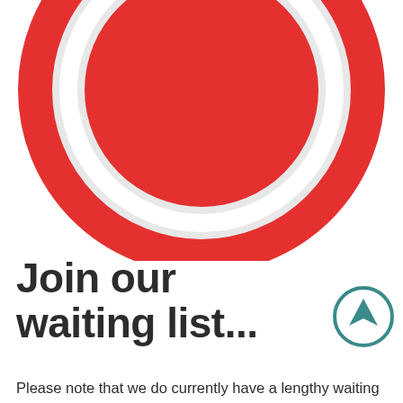[Figure (logo): Red circular logo — large red filled circle inside a red ring/border, partially cropped at top, resembling a stylized target or medical practice logo with white space between inner and outer red shapes]
Join our waiting list...
[Figure (other): Teal/dark-cyan circular arrow icon pointing upward, outlined circle with upward-pointing filled arrow inside]
Please note that we do currently have a lengthy waiting list, acceptance is not immediate. When you are accepted by one of our doctors, you will be notified with a letter in the mail. We accept patients on a first come, first serve basis. If you are not already on our waiting list you may apply either in person or online (see the link below). To limit contact with patients we are asking that you either mail in your application or